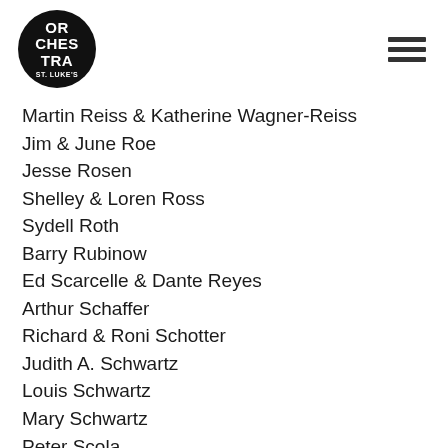[Figure (logo): Orchestra of St. Luke's circular logo, black circle with white text]
Martin Reiss & Katherine Wagner-Reiss
Jim & June Roe
Jesse Rosen
Shelley & Loren Ross
Sydell Roth
Barry Rubinow
Ed Scarcelle & Dante Reyes
Arthur Schaffer
Richard & Roni Schotter
Judith A. Schwartz
Louis Schwartz
Mary Schwartz
Peter Scola
Sara Seiden